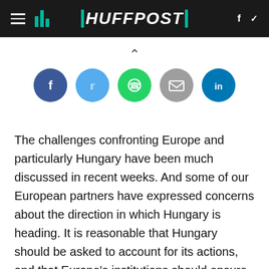HUFFPOST
[Figure (illustration): Row of five social sharing icon circles: Facebook (blue), Twitter (light blue), WhatsApp (green), Email (grey), LinkedIn (blue). Above them is a caret/chevron pointing upward.]
The challenges confronting Europe and particularly Hungary have been much discussed in recent weeks. And some of our European partners have expressed concerns about the direction in which Hungary is heading. It is reasonable that Hungary should be asked to account for its actions, and that Europe's institutions should ensure that our reforms comply with the European treaties, as the European Commission is currently doing. I can